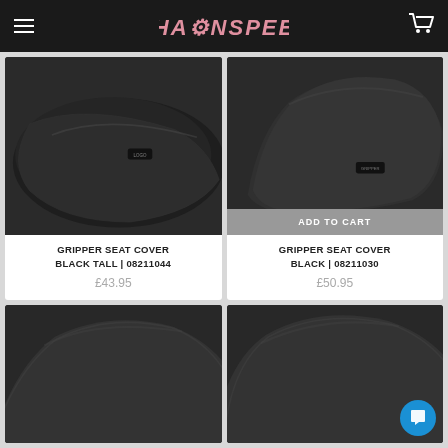CHAINSPEED
[Figure (photo): Black gripper seat cover - tall variant, fabric texture visible with small logo tag]
GRIPPER SEAT COVER BLACK TALL | 08211044
£43.95
[Figure (photo): Black gripper seat cover - standard variant, smooth matte finish with small logo badge]
ADD TO CART
GRIPPER SEAT COVER BLACK | 08211030
£50.95
[Figure (photo): Black seat cover product - bottom left, partial view showing curved profile]
[Figure (photo): Black seat cover product - bottom right, partial view showing curved profile]